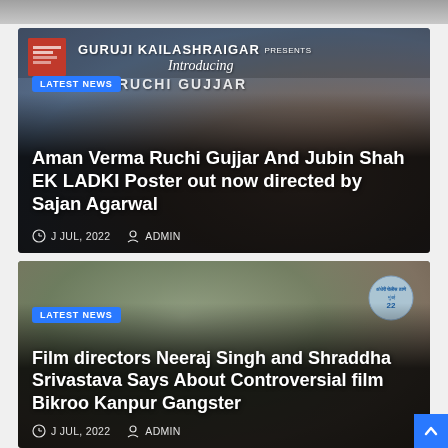[Figure (photo): Partially visible image strip at top of page (grey/image cropped)]
[Figure (photo): Movie poster-style image for EK LADKI - shows GURUJI KAILASHRAIGAR PRESENTS, Introducing RUCHI GUJJAR text overlaid on image of three people (two men and a woman) smiling together]
LATEST NEWS
Aman Verma Ruchi Gujjar And Jubin Shah EK LADKI Poster out now directed by Sajan Agarwal
J JUL, 2022   ADMIN
[Figure (photo): News photo showing film directors Neeraj Singh and Shraddha Srivastava outside what appears to be a police station (Andheri Police Station, Mumbai sign visible in background)]
LATEST NEWS
Film directors Neeraj Singh and Shraddha Srivastava Says About Controversial film Bikroo Kanpur Gangster
J JUL, 2022   ADMIN